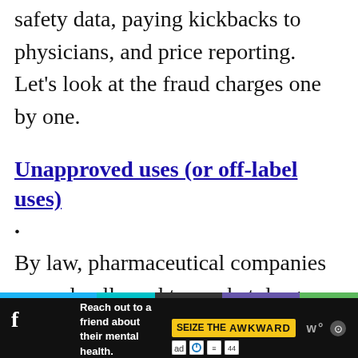safety data, paying kickbacks to physicians, and price reporting. Let's look at the fraud charges one by one.
Unapproved uses (or off-label uses).
By law, pharmaceutical companies are only allowed to market drugs according to what is stated in their package labeling which is approved by the FDA. Off-label uses are the practice of prescribing pharmaceuticals for an
[Figure (other): Advertisement banner: 'Reach out to a friend about their mental health. Learn more' with 'SEIZE THE AWKWARD' badge and ad icons, on dark background with color strip.]